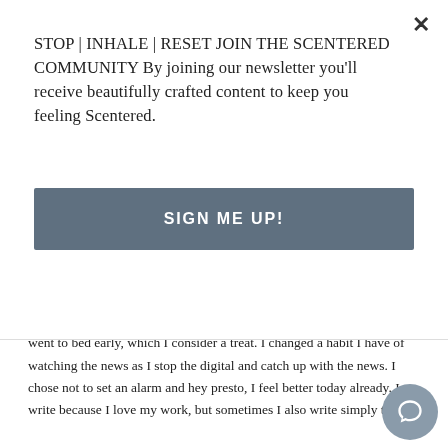I can all will be well. In my case exercise is the absolute best of stress release. Factually it lowers stress hormones – such as cortisol, and the endorphins we release during exercise could be described as our naturally created pain killer.
"My confidence grows when I exercise regularly"
The recovery value of sleep improves sleep quality, today I feel better. I went to bed early, which I consider a treat. I changed a habit I have of watching the news as I stop the digital and catch up with the news. I chose not to set an alarm and hey presto, I feel better today already. I write because I love my work, but sometimes I also write simply to
STOP | INHALE | RESET JOIN THE SCENTERED COMMUNITY By joining our newsletter you'll receive beautifully crafted content to keep you feeling Scentered.
SIGN ME UP!